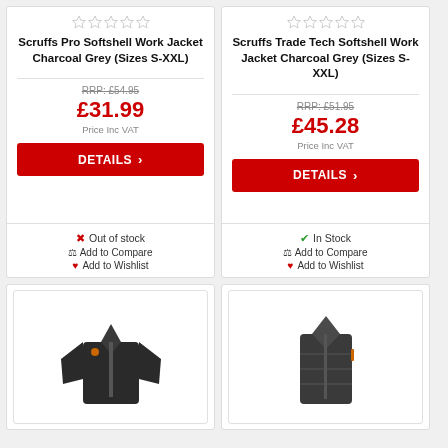Scruffs Pro Softshell Work Jacket Charcoal Grey (Sizes S-XXL) — RRP: £54.95 — £31.99 Price Inc VAT — Out of stock — Add to Compare — Add to Wishlist
Scruffs Trade Tech Softshell Work Jacket Charcoal Grey (Sizes S-XXL) — RRP: £51.95 — £45.28 Price Inc VAT — In Stock — Add to Compare — Add to Wishlist
[Figure (photo): Dark charcoal softshell work jacket]
[Figure (photo): Dark charcoal gilet/body warmer]